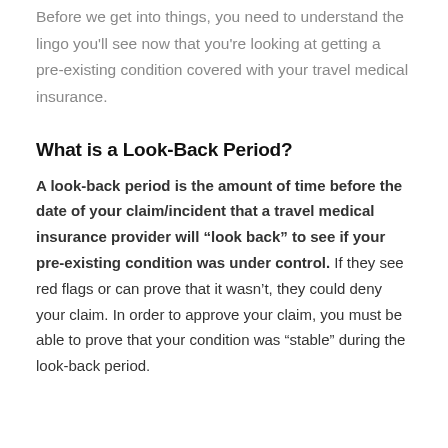Before we get into things, you need to understand the lingo you'll see now that you're looking at getting a pre-existing condition covered with your travel medical insurance.
What is a Look-Back Period?
A look-back period is the amount of time before the date of your claim/incident that a travel medical insurance provider will “look back” to see if your pre-existing condition was under control. If they see red flags or can prove that it wasn’t, they could deny your claim. In order to approve your claim, you must be able to prove that your condition was “stable” during the look-back period.